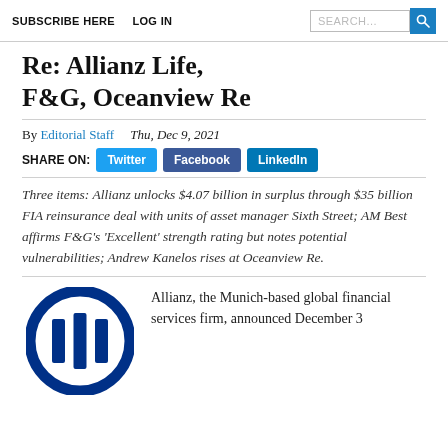SUBSCRIBE HERE   LOG IN
Re: Allianz Life, F&G, Oceanview Re
By Editorial Staff   Thu, Dec 9, 2021
SHARE ON: Twitter  Facebook  LinkedIn
Three items: Allianz unlocks $4.07 billion in surplus through $35 billion FIA reinsurance deal with units of asset manager Sixth Street; AM Best affirms F&G's 'Excellent' strength rating but notes potential vulnerabilities; Andrew Kanelos rises at Oceanview Re.
[Figure (logo): Allianz circular logo with stylized blue bars inside a blue circle on white background]
Allianz, the Munich-based global financial services firm, announced December 3